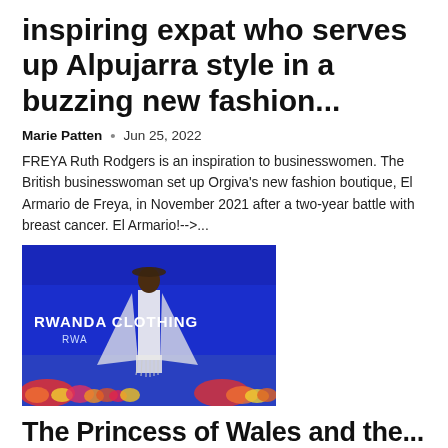inspiring expat who serves up Alpujarra style in a buzzing new fashion...
Marie Patten • Jun 25, 2022
FREYA Ruth Rodgers is an inspiration to businesswomen. The British businesswoman set up Orgiva's new fashion boutique, El Armario de Freya, in November 2021 after a two-year battle with breast cancer. El Armario!-->...
[Figure (photo): A model wearing a white flowing outfit walks on a runway in front of a blue backdrop that reads 'RWANDA CLOTHING RWA'. There are colourful flowers in the foreground.]
The Princess of Wales and the...